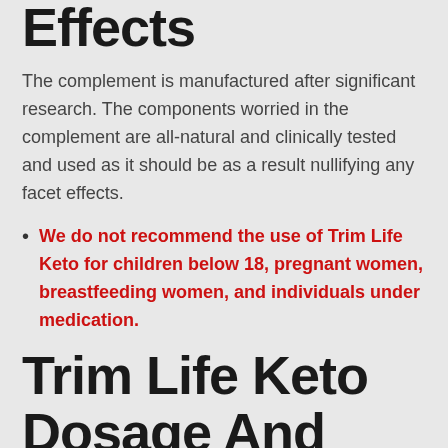Effects
The complement is manufactured after significant research. The components worried in the complement are all-natural and clinically tested and used as it should be as a result nullifying any facet effects.
We do not recommend the use of Trim Life Keto for children below 18, pregnant women, breastfeeding women, and individuals under medication.
Trim Life Keto Dosage And How